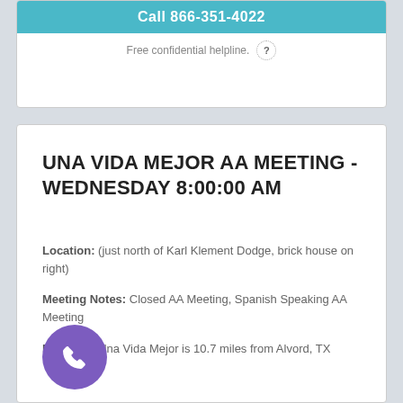Call 866-351-4022
Free confidential helpline.
UNA VIDA MEJOR AA MEETING - WEDNESDAY 8:00:00 AM
Location: (just north of Karl Klement Dodge, brick house on right)
Meeting Notes: Closed AA Meeting, Spanish Speaking AA Meeting
Distance: Una Vida Mejor is 10.7 miles from Alvord, TX
Call 866-351-4022
Free confidential helpline.